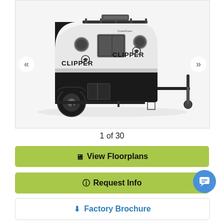[Figure (photo): Photo of a Clipper brand teardrop travel trailer/camper, white and black exterior, shown on a trailer hitch frame with a spare tire rack and roof rack, photographed from a 3/4 front angle on a white background. Navigation arrows (left and right) appear on either side of the image.]
1 of 30
🖥 View Floorplans
ℹ Request Info
⬇ Factory Brochure